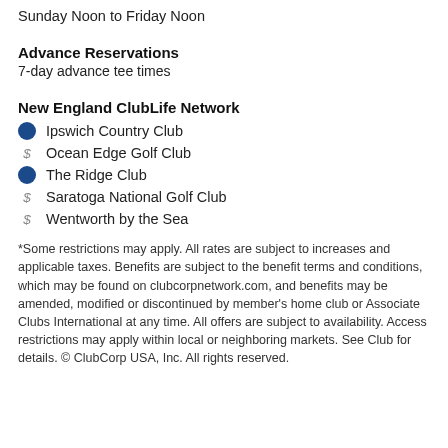Sunday Noon to Friday Noon
Advance Reservations
7-day advance tee times
New England ClubLife Network
Ipswich Country Club
Ocean Edge Golf Club
The Ridge Club
Saratoga National Golf Club
Wentworth by the Sea
*Some restrictions may apply. All rates are subject to increases and applicable taxes. Benefits are subject to the benefit terms and conditions, which may be found on clubcorpnetwork.com, and benefits may be amended, modified or discontinued by member's home club or Associate Clubs International at any time. All offers are subject to availability. Access restrictions may apply within local or neighboring markets. See Club for details. © ClubCorp USA, Inc. All rights reserved.